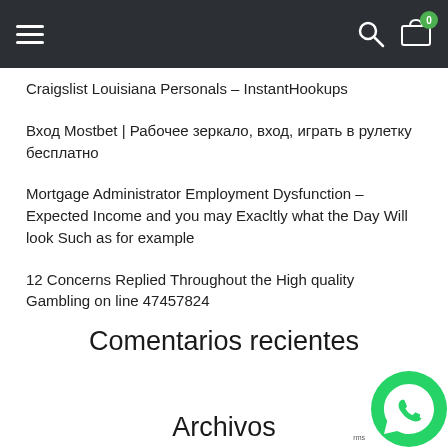Navigation bar with hamburger menu, search icon, and cart icon (0 items)
Craigslist Louisiana Personals – InstantHookups
Вход Mostbet | Рабочее зеркало, вход, играть в рулетку бесплатно
Mortgage Administrator Employment Dysfunction – Expected Income and you may Exacltly what the Day Will look Such as for example
12 Concerns Replied Throughout the High quality Gambling on line 47457824
Comentarios recientes
Archivos